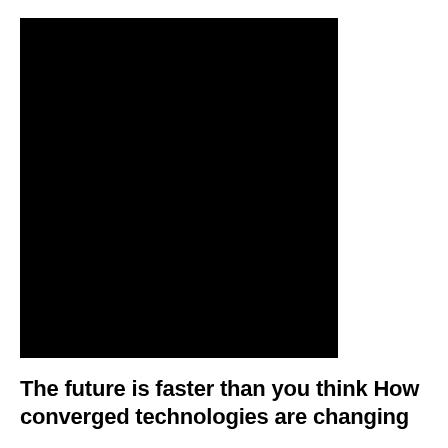[Figure (photo): A large black rectangular image occupying the left portion of the upper part of the page, likely a book cover or photograph that is fully dark/black.]
The future is faster than you think How converged technologies are changing